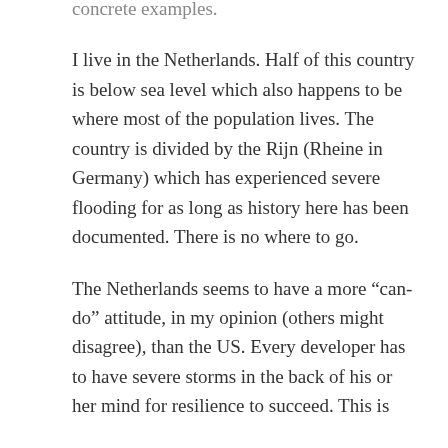concrete examples.
I live in the Netherlands. Half of this country is below sea level which also happens to be where most of the population lives. The country is divided by the Rijn (Rheine in Germany) which has experienced severe flooding for as long as history here has been documented. There is no where to go.
The Netherlands seems to have a more “can-do” attitude, in my opinion (others might disagree), than the US. Every developer has to have severe storms in the back of his or her mind for resilience to succeed. This is